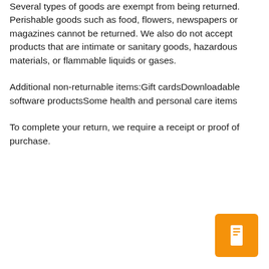Several types of goods are exempt from being returned. Perishable goods such as food, flowers, newspapers or magazines cannot be returned. We also do not accept products that are intimate or sanitary goods, hazardous materials, or flammable liquids or gases.
Additional non-returnable items:Gift cardsDownloadable software productsSome health and personal care items
To complete your return, we require a receipt or proof of purchase.
[Figure (other): Orange square button with a white bookmark/document icon in the center, positioned in the bottom-right corner of the page.]